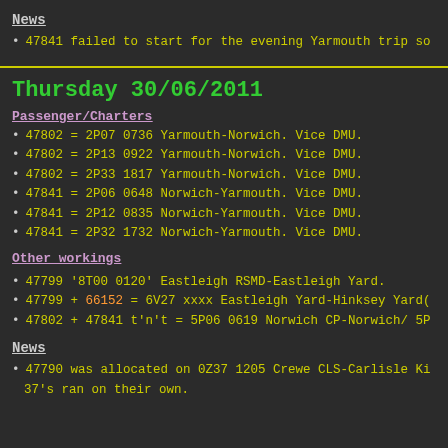News
47841 failed to start for the evening Yarmouth trip so
Thursday 30/06/2011
Passenger/Charters
47802 = 2P07 0736 Yarmouth-Norwich. Vice DMU.
47802 = 2P13 0922 Yarmouth-Norwich. Vice DMU.
47802 = 2P33 1817 Yarmouth-Norwich. Vice DMU.
47841 = 2P06 0648 Norwich-Yarmouth. Vice DMU.
47841 = 2P12 0835 Norwich-Yarmouth. Vice DMU.
47841 = 2P32 1732 Norwich-Yarmouth. Vice DMU.
Other workings
47799 '8T00 0120' Eastleigh RSMD-Eastleigh Yard.
47799 + 66152 = 6V27 xxxx Eastleigh Yard-Hinksey Yard(
47802 + 47841 t'n't = 5P06 0619 Norwich CP-Norwich/ 5P
News
47790 was allocated on 0Z37 1205 Crewe CLS-Carlisle Ki
37's ran on their own.